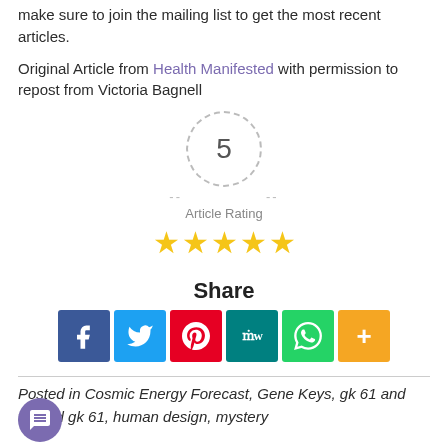make sure to join the mailing list to get the most recent articles.
Original Article from Health Manifested with permission to repost from Victoria Bagnell
[Figure (infographic): Article rating widget showing number 5 in a dashed circle with dashes on either side, label 'Article Rating' below, and five gold stars beneath that.]
Share
[Figure (infographic): Social share buttons: Facebook (blue), Twitter (light blue), Pinterest (red), MeWe (teal), WhatsApp (green), More (orange)]
Posted in Cosmic Energy Forecast, Gene Keys, gk 61 and tagged gk 61, human design, mystery